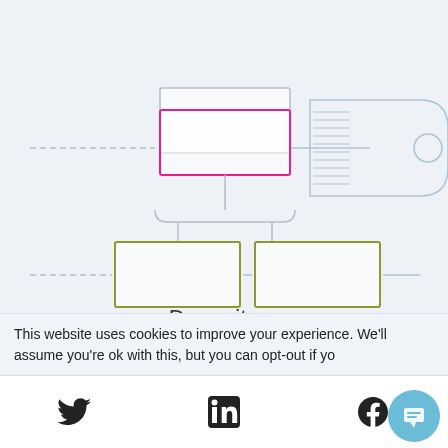[Figure (schematic): A UI/UX diagram showing a hierarchy of rounded rectangles connected by lines, overlaid with a paint brush illustration. The top box has a pink/magenta border, two bottom boxes have olive/green borders. Horizontal lines pass through the diagram suggesting style customization.]
Dress it up
Instantly personalize to your unique style
This website uses cookies to improve your experience. We'll assume you're ok with this, but you can opt-out if yo
[Figure (infographic): Social media icon bar with Twitter, LinkedIn, Facebook icons and a chat bubble button]